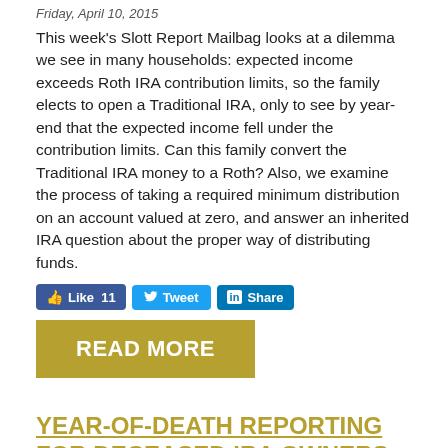Friday, April 10, 2015
This week's Slott Report Mailbag looks at a dilemma we see in many households: expected income exceeds Roth IRA contribution limits, so the family elects to open a Traditional IRA, only to see by year-end that the expected income fell under the contribution limits. Can this family convert the Traditional IRA money to a Roth? Also, we examine the process of taking a required minimum distribution on an account valued at zero, and answer an inherited IRA question about the proper way of distributing funds.
[Figure (other): Social sharing buttons: Like 11, Tweet, Share]
[Figure (other): READ MORE button in gold/olive color]
YEAR-OF-DEATH REPORTING FOR DECEASED IRA OWNERS
Tuesday, April 07, 2015